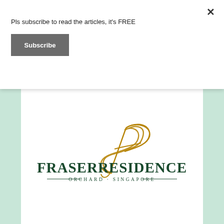Pls subscribe to read the articles, it's FREE
Subscribe
[Figure (logo): Fraser Residence Orchard Singapore logo with decorative cursive F and serif text]